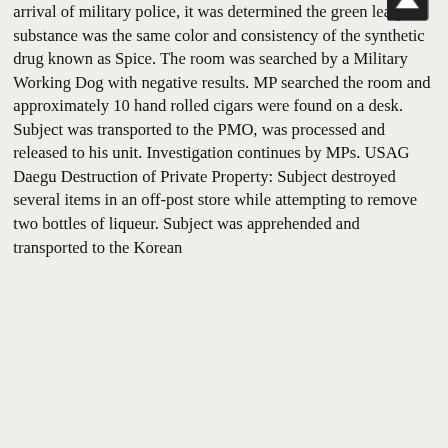arrival of military police, it was determined the green leafy substance was the same color and consistency of the synthetic drug known as Spice. The room was searched by a Military Working Dog with negative results. MP searched the room and approximately 10 hand rolled cigars were found on a desk. Subject was transported to the PMO, was processed and released to his unit. Investigation continues by MPs. USAG Daegu Destruction of Private Property: Subject destroyed several items in an off-post store while attempting to remove two bottles of liqueur. Subject was apprehended and transported to the Korean
[Figure (screenshot): Cookie consent banner overlay on a blue background. Text reads: 'This website uses cookies to ensure you get the best experience on our website. Our partners will collect data and use cookies for ad personalization and measurement.' A link reads 'Learn how we and our partners collect and use data.' An OK button is shown at the bottom. A scroll-to-top button (dark square with upward arrow) is visible in the lower right corner.]
star ranking by Skytrax. Soldiers who fly in here get the experience of